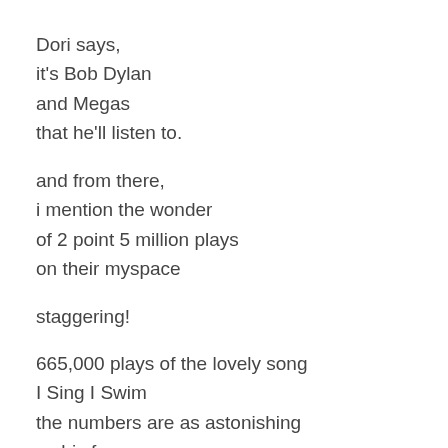Dori says,
it's Bob Dylan
and Megas
that he'll listen to.

and from there,
i mention the wonder
of 2 point 5 million plays
on their myspace

staggering!

665,000 plays of the lovely song
I Sing I Swim
the numbers are as astonishing
as his face
is